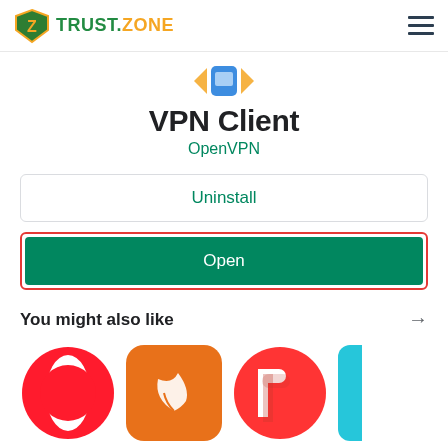[Figure (screenshot): Trust.Zone VPN logo in header with shield icon and hamburger menu]
VPN Client
OpenVPN
[Figure (screenshot): Uninstall button (outlined) and Open button (green, highlighted with red border)]
You might also like
[Figure (screenshot): Row of app icons: Opera, a leaf/bird app, PIA, and partial teal icon]